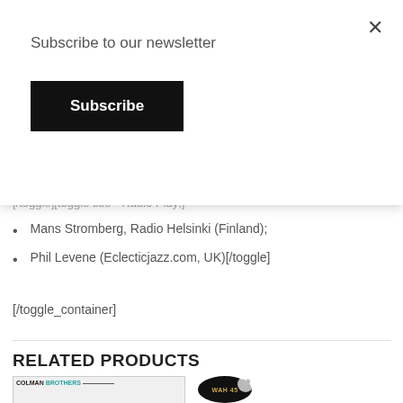Subscribe to our newsletter
Subscribe
[/toggle][toggle title="Radio Play";
Mans Stromberg, Radio Helsinki (Finland);
Phil Levene (Eclecticjazz.com, UK)[/toggle]
[/toggle_container]
RELATED PRODUCTS
[Figure (photo): Colman Brothers album cover thumbnail]
[Figure (photo): WAH 45 circular album cover thumbnail]